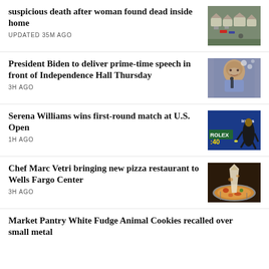suspicious death after woman found dead inside home
UPDATED 35M AGO
[Figure (photo): Aerial view of a neighborhood with emergency vehicles]
President Biden to deliver prime-time speech in front of Independence Hall Thursday
3H AGO
[Figure (photo): President Biden speaking at a microphone]
Serena Williams wins first-round match at U.S. Open
1H AGO
[Figure (photo): Serena Williams playing tennis at U.S. Open with Emirates signage]
Chef Marc Vetri bringing new pizza restaurant to Wells Fargo Center
3H AGO
[Figure (photo): Pizza being lifted from a pan at Wells Fargo Center]
Market Pantry White Fudge Animal Cookies recalled over small metal